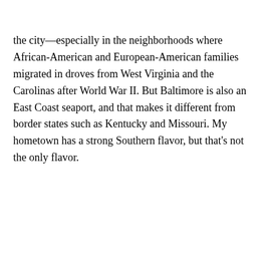the city—especially in the neighborhoods where African-American and European-American families migrated in droves from West Virginia and the Carolinas after World War II. But Baltimore is also an East Coast seaport, and that makes it different from border states such as Kentucky and Missouri. My hometown has a strong Southern flavor, but that's not the only flavor.